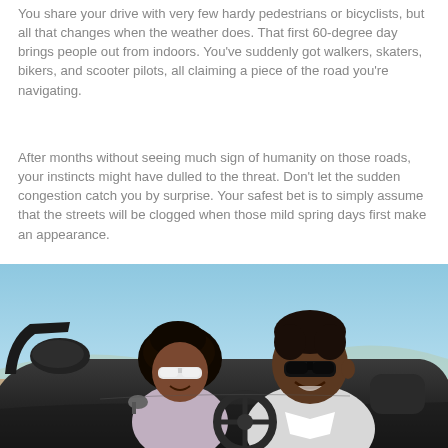You share your drive with very few hardy pedestrians or bicyclists, but all that changes when the weather does. That first 60-degree day brings people out from indoors. You've suddenly got walkers, skaters, bikers, and scooter pilots, all claiming a piece of the road you're navigating.
After months without seeing much sign of humanity on those roads, your instincts might have dulled to the threat. Don't let the sudden congestion catch you by surprise. Your safest bet is to simply assume that the streets will be clogged when those mild spring days first make an appearance.
[Figure (photo): Two people in a convertible car on a sunny day. The driver is a smiling man wearing dark sunglasses, and the passenger is a woman wearing white sunglasses. The top of the convertible is down and the background shows a blue sky and arid landscape.]